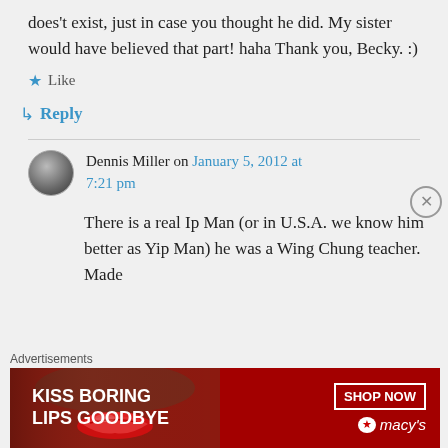does't exist, just in case you thought he did. My sister would have believed that part! haha Thank you, Becky. :)
Like
Reply
Dennis Miller on January 5, 2012 at 7:21 pm
There is a real Ip Man (or in U.S.A. we know him better as Yip Man) he was a Wing Chung teacher. Made
Advertisements
[Figure (photo): Advertisement banner: KISS BORING LIPS GOODBYE - SHOP NOW - macys]